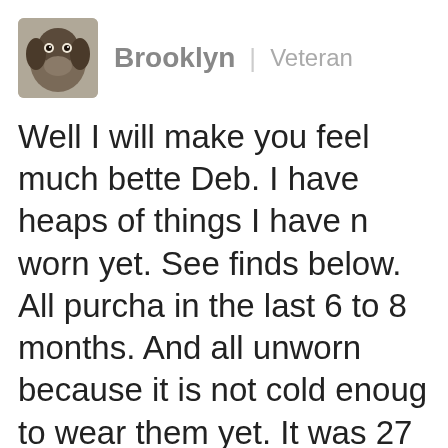[Figure (photo): Small avatar photo of a dog (dachshund) looking at camera]
Brooklyn | Veteran
Well I will make you feel much better Deb. I have heaps of things I have not worn yet. See finds below. All purchased in the last 6 to 8 months. And all unworn because it is not cold enough to wear them yet. It was 27 today. I have not put my shorts away! I purchase out of season if I like something enough and the price is right. And I should for